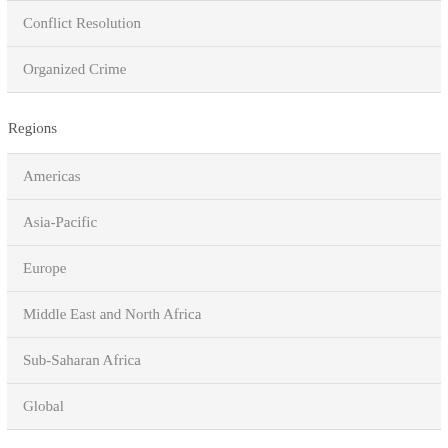Conflict Resolution
Organized Crime
Regions
Americas
Asia-Pacific
Europe
Middle East and North Africa
Sub-Saharan Africa
Global